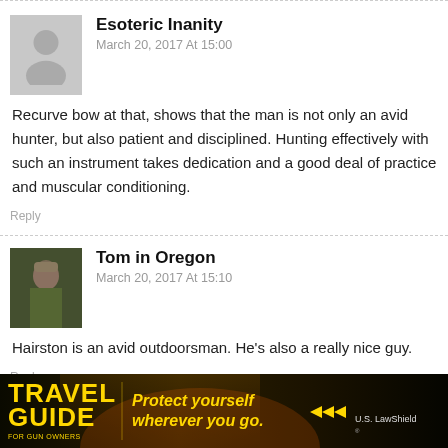Esoteric Inanity
March 20, 2017 At 15:00
Recurve bow at that, shows that the man is not only an avid hunter, but also patient and disciplined. Hunting effectively with such an instrument takes dedication and a good deal of practice and muscular conditioning.
Reply
Tom in Oregon
March 20, 2017 At 15:10
Hairston is an avid outdoorsman. He’s also a really nice guy.
Reply
[Figure (infographic): Travel Guide for Gun Owners advertisement banner with text 'Protect yourself wherever you go.' and U.S. LawShield branding]